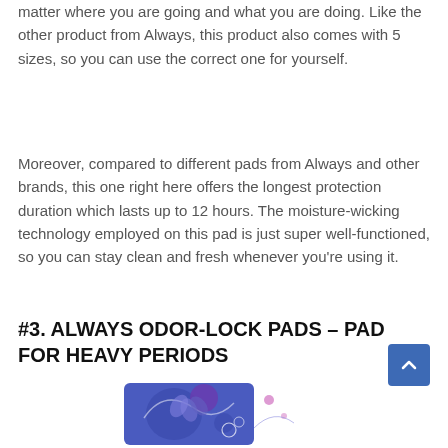matter where you are going and what you are doing. Like the other product from Always, this product also comes with 5 sizes, so you can use the correct one for yourself.
Moreover, compared to different pads from Always and other brands, this one right here offers the longest protection duration which lasts up to 12 hours. The moisture-wicking technology employed on this pad is just super well-functioned, so you can stay clean and fresh whenever you're using it.
#3. ALWAYS ODOR-LOCK PADS – PAD FOR HEAVY PERIODS
[Figure (photo): Product image of Always Odor-Lock Pads packaging with blue floral design]